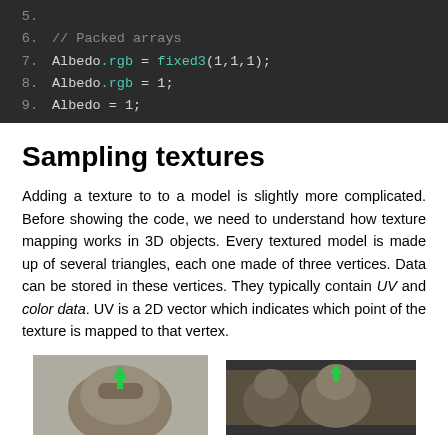[Figure (screenshot): Dark-themed code editor showing lines 5-9 of shader code. Line 5 is empty. Line 6 shows a comment '// Packed arrays'. Line 7: Albedo.rgb = fixed3(1,1,1); Line 8: Albedo.rgb = 1; Line 9: Albedo = 1;]
Sampling textures
Adding a texture to to a model is slightly more complicated. Before showing the code, we need to understand how texture mapping works in 3D objects. Every textured model is made up of several triangles, each one made of three vertices. Data can be stored in these vertices. They typically contain UV and color data. UV is a 2D vector which indicates which point of the texture is mapped to that vertex.
[Figure (photo): Left image: A 3D character model of a soldier wearing goggles with a green arrow pointing down on the helmet. Right image: A screenshot of a 3D scene editor showing a similar character model from behind/side, with UI elements visible.]